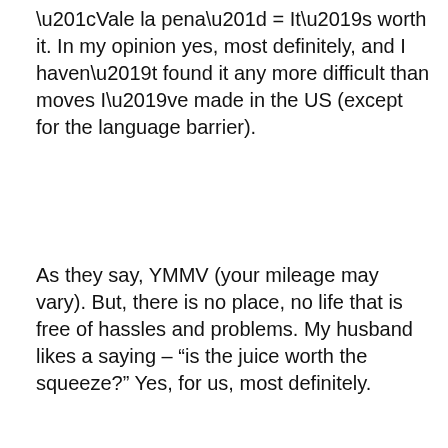“Vale la pena” = It’s worth it. In my opinion yes, most definitely, and I haven’t found it any more difficult than moves I’ve made in the US (except for the language barrier).
As they say, YMMV (your mileage may vary). But, there is no place, no life that is free of hassles and problems. My husband likes a saying – “is the juice worth the squeeze?” Yes, for us, most definitely.
Advertisements
[Figure (screenshot): Dark-background advertisement for Sensei plugin. Shows the Sensei logo (circle icon with figure and text 'sensei'), headline 'Launch your online course with WordPress' in teal, and a 'Learn More' teal rounded button.]